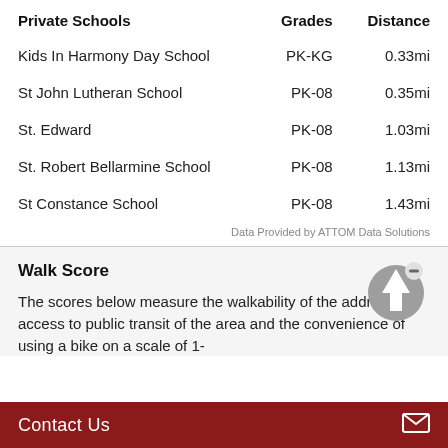| Private Schools | Grades | Distance |
| --- | --- | --- |
| Kids In Harmony Day School | PK-KG | 0.33mi |
| St John Lutheran School | PK-08 | 0.35mi |
| St. Edward | PK-08 | 1.03mi |
| St. Robert Bellarmine School | PK-08 | 1.13mi |
| St Constance School | PK-08 | 1.43mi |
Data Provided by ATTOM Data Solutions
Walk Score
The scores below measure the walkability of the address, access to public transit of the area and the convenience of using a bike on a scale of 1-
Contact Us